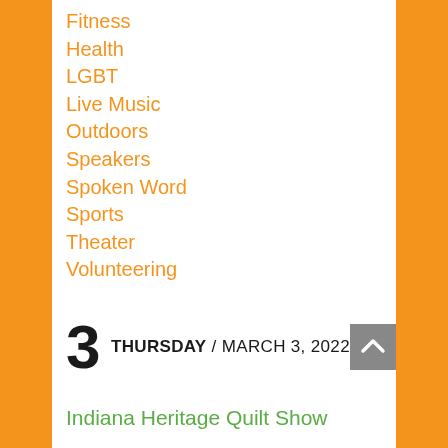Fitness
Health
LGBT
Live Music
Outdoors
Speakers
Spoken Word
Sports
Theater
Volunteering
3 THURSDAY / MARCH 3, 2022
Indiana Heritage Quilt Show